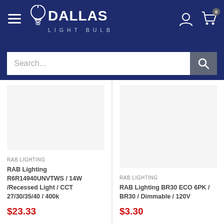Dallas Light Bulb — navigation header with logo, hamburger menu, user icon, cart icon (0 items), and search bar
RAB LIGHTING
RAB Lighting R6R14940UNVTWS / 14W /Recessed Light / CCT 27/30/35/40 / 400k
$23.33
RAB LIGHTING
RAB Lighting BR30 ECO 6PK / BR30 / Dimmable / 120V
$3.30